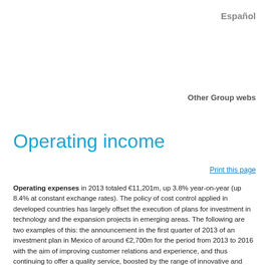Español
Other Group webs
Operating income
Print this page
Operating expenses in 2013 totaled €11,201m, up 3.8% year-on-year (up 8.4% at constant exchange rates). The policy of cost control applied in developed countries has largely offset the execution of plans for investment in technology and the expansion projects in emerging areas. The following are two examples of this: the announcement in the first quarter of 2013 of an investment plan in Mexico of around €2,700m for the period from 2013 to 2016 with the aim of improving customer relations and experience, and thus continuing to offer a quality service, boosted by the range of innovative and specialized products offered; and the launch in the third quarter of 2013